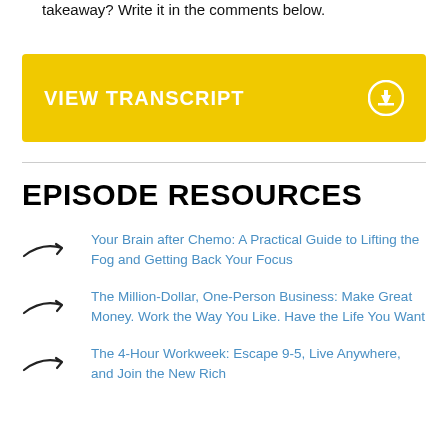takeaway? Write it in the comments below.
[Figure (other): Yellow banner button with text 'VIEW TRANSCRIPT' and a download/arrow circle icon on the right]
EPISODE RESOURCES
Your Brain after Chemo: A Practical Guide to Lifting the Fog and Getting Back Your Focus
The Million-Dollar, One-Person Business: Make Great Money. Work the Way You Like. Have the Life You Want
The 4-Hour Workweek: Escape 9-5, Live Anywhere, and Join the New Rich